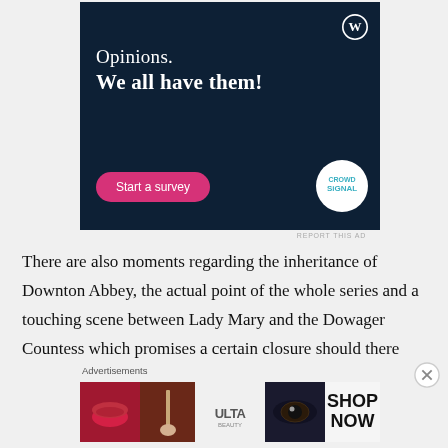[Figure (screenshot): WordPress/CrowdSignal advertisement on dark navy background. Shows 'Opinions. We all have them!' text with a pink 'Start a survey' button and CrowdSignal logo. WordPress logo in top right corner.]
REPORT THIS AD
There are also moments regarding the inheritance of Downton Abbey, the actual point of the whole series and a touching scene between Lady Mary and the Dowager Countess which promises a certain closure should there
Advertisements
[Figure (screenshot): Ulta Beauty advertisement strip showing beauty images: lips with lipstick, makeup brush, eyes, Ulta logo, more eye images, and SHOP NOW text on white background.]